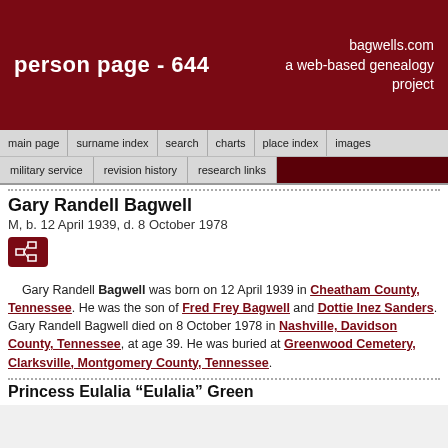person page - 644 | bagwells.com a web-based genealogy project
Gary Randell Bagwell
M, b. 12 April 1939, d. 8 October 1978
Gary Randell Bagwell was born on 12 April 1939 in Cheatham County, Tennessee. He was the son of Fred Frey Bagwell and Dottie Inez Sanders. Gary Randell Bagwell died on 8 October 1978 in Nashville, Davidson County, Tennessee, at age 39. He was buried at Greenwood Cemetery, Clarksville, Montgomery County, Tennessee.
Princess Eulalia “Eulalia” Green